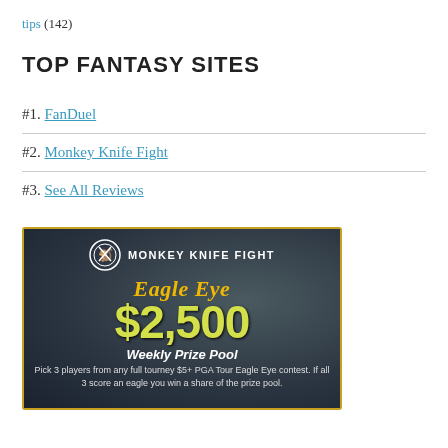tips (142)
TOP FANTASY SITES
#1. FanDuel
#2. Monkey Knife Fight
#3. See All Reviews
[Figure (illustration): Monkey Knife Fight advertisement banner with Eagle Eye $2,500 Weekly Prize Pool contest. Dark background with logo, stylized text, and contest description: Pick 3 players from any full tourney $5+ PGA Tour Eagle Eye contest. If all 3 score an eagle you win a share of the prize pool.]